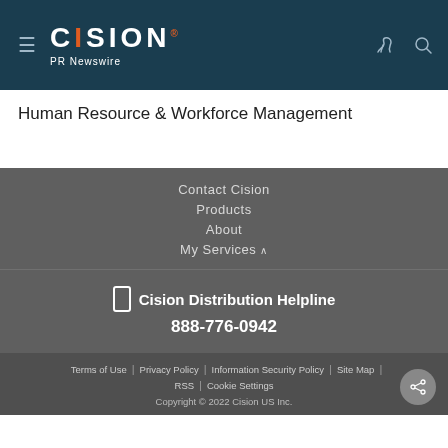Cision PR Newswire
Human Resource & Workforce Management
Contact Cision
Products
About
My Services
Cision Distribution Helpline
888-776-0942
Terms of Use | Privacy Policy | Information Security Policy | Site Map | RSS | Cookie Settings
Copyright © 2022 Cision US Inc.